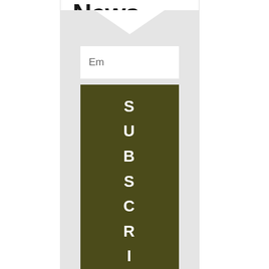Newsletter
Join our mailing list to receive the latest news and updates from our team.
[Figure (screenshot): Email newsletter subscription form with an envelope graphic, an email input field showing 'Em' placeholder, and a dark olive green SUBSCRIBE button with letters stacked vertically (S U B S C R I B E)]